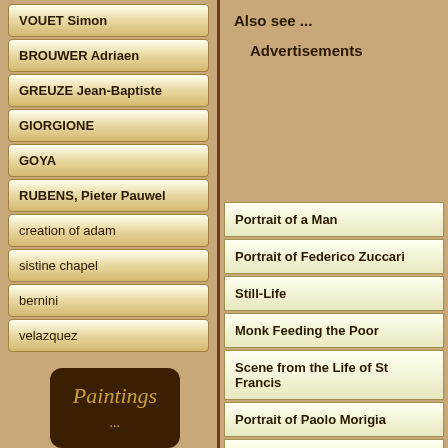VOUET Simon
BROUWER Adriaen
GREUZE Jean-Baptiste
GIORGIONE
GOYA
RUBENS, Pieter Pauwel
creation of adam
sistine chapel
bernini
velazquez
Also see ...
Advertisements
Portrait of a Man
Portrait of Federico Zuccari
Still-Life
Monk Feeding the Poor
Scene from the Life of St Francis
Portrait of Paolo Morigia
Portrait of Paolo Morigia (detail)
Portrait of a Physician